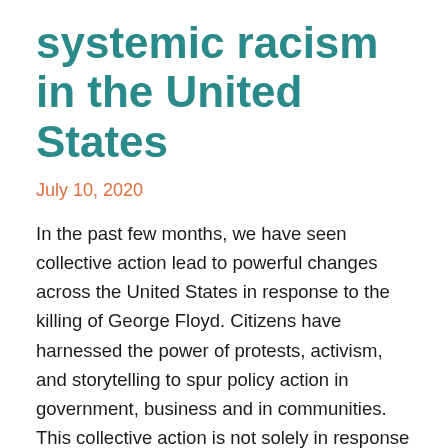systemic racism in the United States
July 10, 2020
In the past few months, we have seen collective action lead to powerful changes across the United States in response to the killing of George Floyd. Citizens have harnessed the power of protests, activism, and storytelling to spur policy action in government, business and in communities. This collective action is not solely in response to the killing of George Floyd. His murder was simply the most recent in a long history of brutality directed at Black people in the United States. His murder,